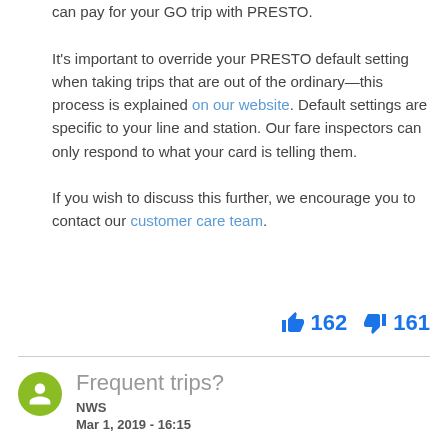can pay for your GO trip with PRESTO. It's important to override your PRESTO default setting when taking trips that are out of the ordinary—this process is explained on our website. Default settings are specific to your line and station. Our fare inspectors can only respond to what your card is telling them.
If you wish to discuss this further, we encourage you to contact our customer care team.
👍 162  👎 161
Frequent trips?
NWS
Mar 1, 2019 - 16:15